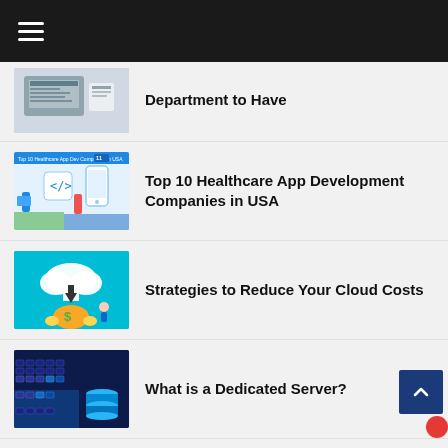☰ (navigation menu)
Department to Have
Top 10 Healthcare App Development Companies in USA
Strategies to Reduce Your Cloud Costs
What is a Dedicated Server?
8 Amazing Email Marketing Tips to Sell More Event Tickets